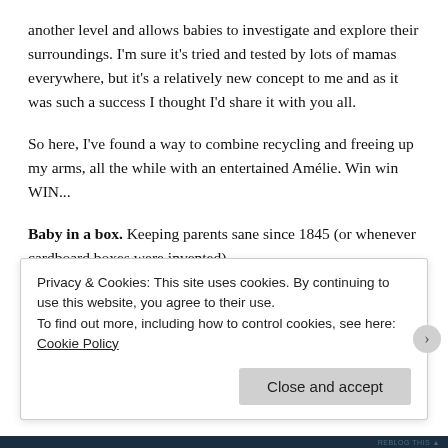another level and allows babies to investigate and explore their surroundings. I'm sure it's tried and tested by lots of mamas everywhere, but it's a relatively new concept to me and as it was such a success I thought I'd share it with you all.
So here, I've found a way to combine recycling and freeing up my arms, all the while with an entertained Amélie. Win win WIN...
Baby in a box. Keeping parents sane since 1845 (or whenever cardboard boxes were invented).
First I MacGyvered a cardboard/playpen hybrid with the sides...
Privacy & Cookies: This site uses cookies. By continuing to use this website, you agree to their use.
To find out more, including how to control cookies, see here: Cookie Policy
Close and accept